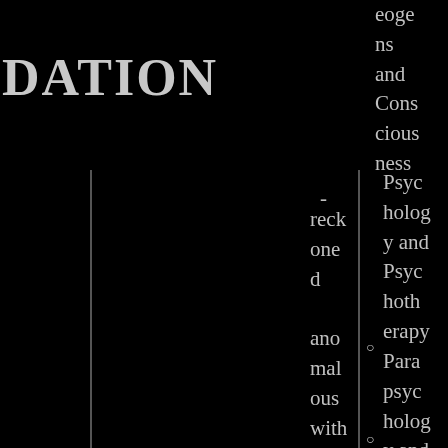DATION
reckoned anomalous without losing the explanat
eoge ns and Consciousness
Psychology and Psychotherapy
Parapsychology and Psychical Research